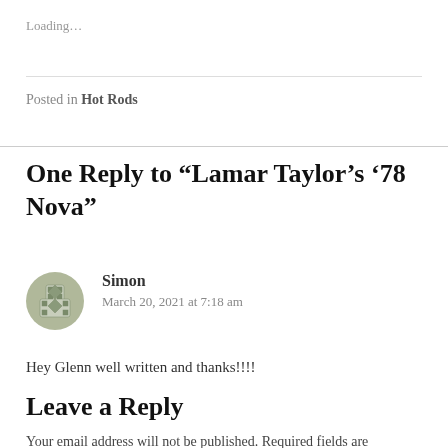Loading…
Posted in Hot Rods
One Reply to “Lamar Taylor’s ’78 Nova”
Simon
March 20, 2021 at 7:18 am
Hey Glenn well written and thanks!!!!
Leave a Reply
Your email address will not be published. Required fields are